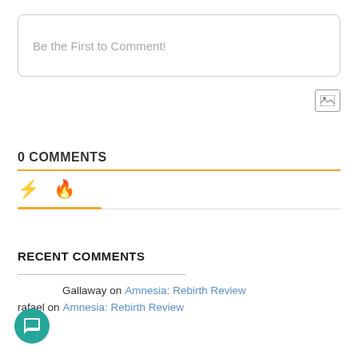Be the First to Comment!
[Figure (other): Image/photo upload icon]
0 COMMENTS
[Figure (other): Tab bar with lightning bolt and fire icons, orange underline on first tab]
RECENT COMMENTS
Gallaway on Amnesia: Rebirth Review
rafael on Amnesia: Rebirth Review
[Figure (other): Teal chat bubble icon button in bottom left]